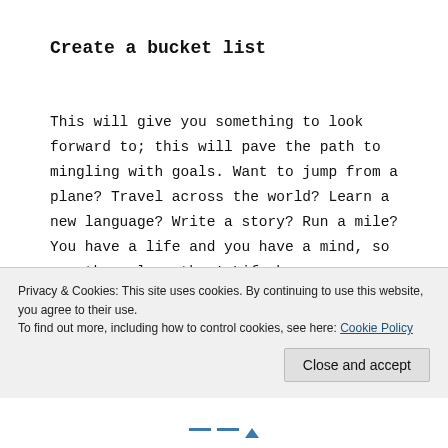Create a bucket list
This will give you something to look forward to; this will pave the path to mingling with goals. Want to jump from a plane? Travel across the world? Learn a new language? Write a story? Run a mile? You have a life and you have a mind, so use them, love them! Life has so many gifts for you — you have to unwrap them. Once created, it's good to keep your bucket list in a
Privacy & Cookies: This site uses cookies. By continuing to use this website, you agree to their use.
To find out more, including how to control cookies, see here: Cookie Policy
Close and accept